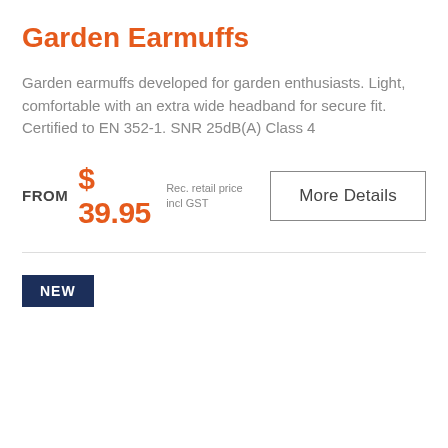Garden Earmuffs
Garden earmuffs developed for garden enthusiasts. Light, comfortable with an extra wide headband for secure fit. Certified to EN 352-1. SNR 25dB(A) Class 4
FROM  $ 39.95  Rec. retail price incl GST
More Details
NEW